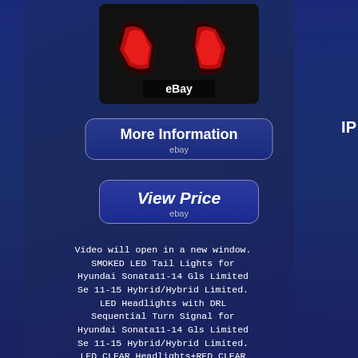[Figure (photo): Product image of smoked LED tail lights for Hyundai Sonata showing red glowing lights on black background with eBay watermark]
More Information
ebay
View Price
ebay
Video will open in a new window. SMOKED LED Tail Lights for Hyundai Sonata11-14 Gls Limited Se 11-15 Hybrid/Hybrid Limited. LED Headlights with DRL Sequential Turn Signal for Hyundai Sonata11-14 Gls Limited Se 11-15 Hybrid/Hybrid Limited. LED CLEAR Headlights+RED CLEAR